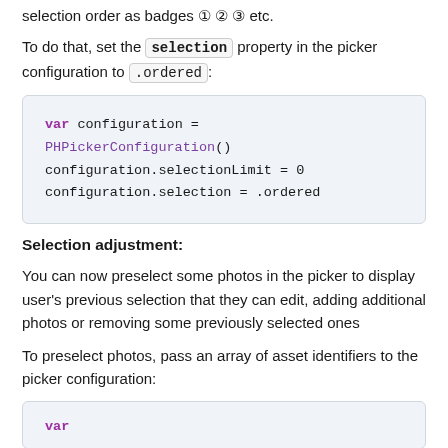selection order as badges ① ② ③ etc.
To do that, set the selection property in the picker configuration to .ordered:
var configuration = PHPickerConfiguration()
configuration.selectionLimit = 0
configuration.selection = .ordered
Selection adjustment:
You can now preselect some photos in the picker to display user's previous selection that they can edit, adding additional photos or removing some previously selected ones
To preselect photos, pass an array of asset identifiers to the picker configuration: